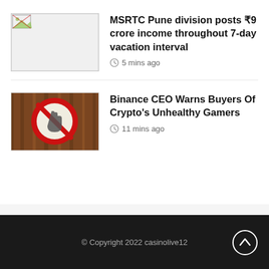[Figure (photo): Broken/missing image placeholder thumbnail for MSRTC news article]
MSRTC Pune division posts ₹9 crore income throughout 7-day vacation interval
5 mins ago
[Figure (photo): Red prohibition/no entry hand sign on wooden background]
Binance CEO Warns Buyers Of Crypto's Unhealthy Gamers
11 mins ago
© Copyright 2022 casinolive12